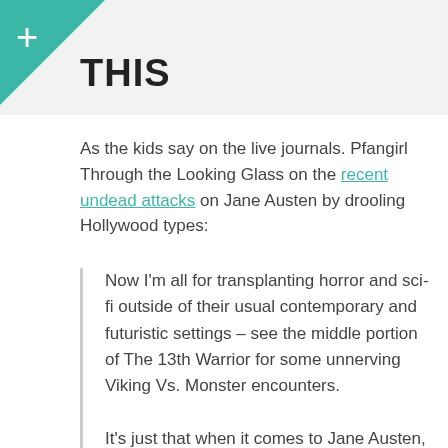THIS
As the kids say on the live journals. Pfangirl Through the Looking Glass on the recent undead attacks on Jane Austen by drooling Hollywood types:
Now I'm all for transplanting horror and sci-fi outside of their usual contemporary and futuristic settings – see the middle portion of The 13th Warrior for some unnerving Viking Vs. Monster encounters.

It's just that when it comes to Jane Austen, I don't know. These adaptations